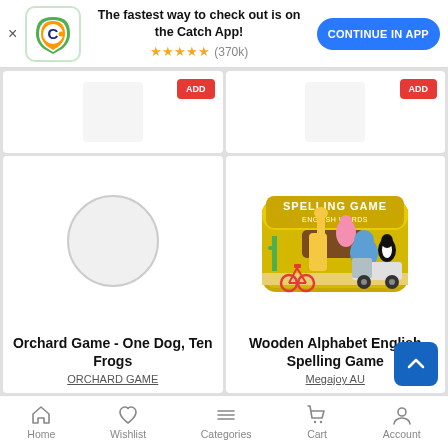[Figure (screenshot): App install banner with Catch logo, text 'The fastest way to check out is on the Catch App!', 5 star rating (370k reviews), and 'CONTINUE IN APP' button]
[Figure (photo): Top-left product card partially visible with red add-to-cart button]
[Figure (photo): Top-right product card partially visible with red add-to-cart button]
[Figure (photo): Bottom-left product card with placeholder circle image for Orchard Game - One Dog, Ten Frogs]
Orchard Game - One Dog, Ten Frogs
ORCHARD GAME
[Figure (photo): Bottom-right product card showing Spelling Game tin box with cartoon animals - Wooden Alphabet English Spelling Game]
Wooden Alphabet English Spelling Game
Megajoy AU
Home  Wishlist  Categories  Cart  Account